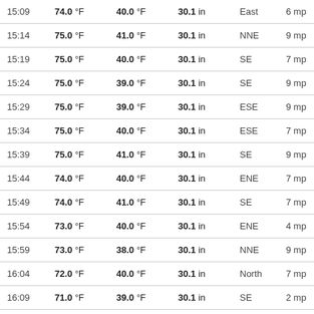| Time | Temp | Dew Point | Pressure | Direction | Wind |
| --- | --- | --- | --- | --- | --- |
| 15:09 | 74.0 °F | 40.0 °F | 30.1 in | East | 6 mp |
| 15:14 | 75.0 °F | 41.0 °F | 30.1 in | NNE | 9 mp |
| 15:19 | 75.0 °F | 40.0 °F | 30.1 in | SE | 7 mp |
| 15:24 | 75.0 °F | 39.0 °F | 30.1 in | SE | 9 mp |
| 15:29 | 75.0 °F | 39.0 °F | 30.1 in | ESE | 9 mp |
| 15:34 | 75.0 °F | 40.0 °F | 30.1 in | ESE | 7 mp |
| 15:39 | 75.0 °F | 41.0 °F | 30.1 in | SE | 9 mp |
| 15:44 | 74.0 °F | 40.0 °F | 30.1 in | ENE | 7 mp |
| 15:49 | 74.0 °F | 41.0 °F | 30.1 in | SE | 7 mp |
| 15:54 | 73.0 °F | 40.0 °F | 30.1 in | ENE | 4 mp |
| 15:59 | 73.0 °F | 38.0 °F | 30.1 in | NNE | 9 mp |
| 16:04 | 72.0 °F | 40.0 °F | 30.1 in | North | 7 mp |
| 16:09 | 71.0 °F | 39.0 °F | 30.1 in | SE | 2 mp |
| 16:14 | 71.0 °F | 39.0 °F | 30.1 in | ENE | 4 mp |